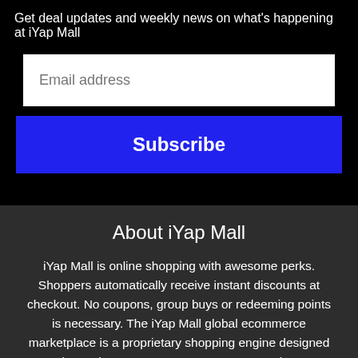Get deal updates and weekly news on what's happening at iYap Mall
Email address
Subscribe
About iYap Mall
iYap Mall is online shopping with awesome perks. Shoppers automatically receive instant discounts at checkout. No coupons, group buys or redeeming points is necessary. The iYap Mall global ecommerce marketplace is a proprietary shopping engine designed to instantly save you money on every purchase.